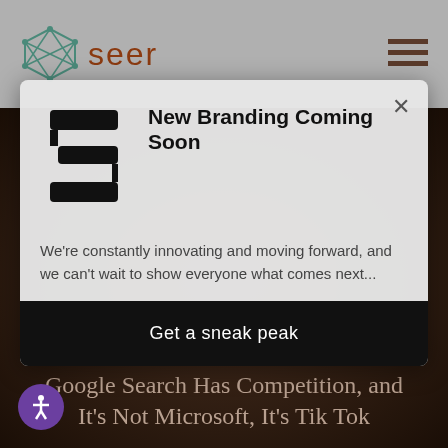[Figure (logo): Seer brand logo with network/polygon icon and text 'seer' in brown, hamburger menu icon on right, on gray navigation bar]
[Figure (screenshot): Modal popup with Seer S-logo, title 'New Branding Coming Soon', descriptive text, and black 'Get a sneak peak' button]
New Branding Coming Soon
We're constantly innovating and moving forward, and we can't wait to show everyone what comes next...
Get a sneak peak
PAID SOCIAL • AUG 18, 2022
Google Search Has Competition, and It's Not Microsoft, It's Tik Tok